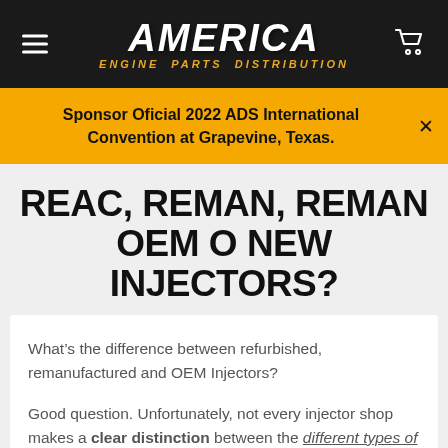AMERICA ENGINE PARTS DISTRIBUTION
Sponsor Oficial 2022 ADS International Convention at Grapevine, Texas.
REAC, REMAN, REMAN OEM O NEW INJECTORS?
What’s the difference between refurbished, remanufactured and OEM Injectors?
Good question. Unfortunately, not every injector shop makes a clear distinction between the different types of injectors they sell, which